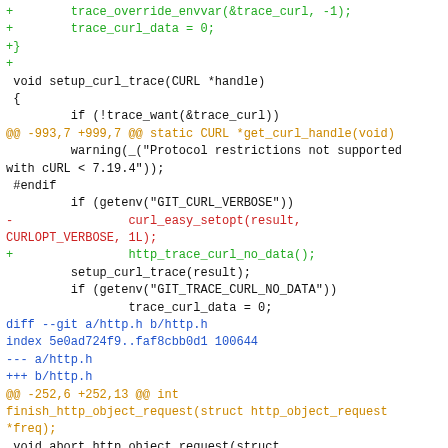[Figure (other): Git diff patch showing changes to http.c and http.h source files, with colored diff lines: green for additions, red for deletions, orange for hunk headers, blue for diff header lines, and black for context lines.]